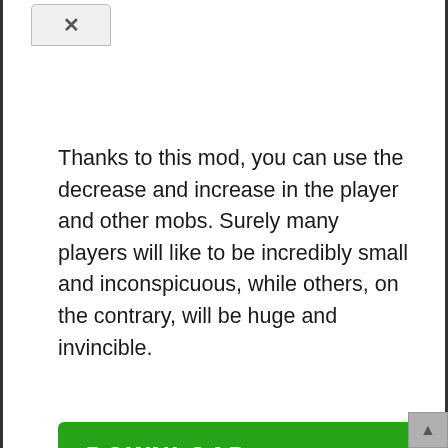[Figure (screenshot): Top browser tab area showing a close/X button tab]
Thanks to this mod, you can use the decrease and increase in the player and other mobs. Surely many players will like to be incredibly small and inconspicuous, while others, on the contrary, will be huge and invincible.
[Figure (other): Green DOWNLOAD button with right-pointing arrow]
Categories Minecraft 1.12.2 Mods
Tags Download Minecraft 1.12.2 Mods, library of minecraft mods, Minecraft 1.12.2 mod, Minecraft 1.12.2 Mods, Minecraft mods